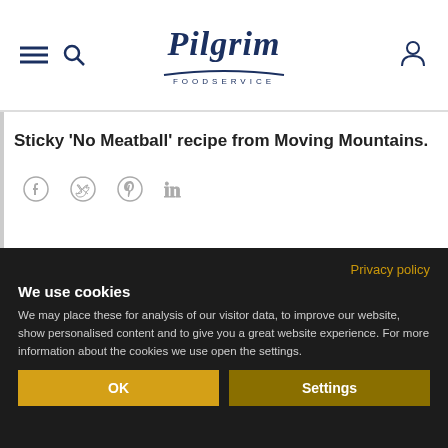Pilgrim Foodservice
Sticky 'No Meatball' recipe from Moving Mountains.
[Figure (illustration): Social media icons: Facebook, Twitter, Pinterest, LinkedIn]
[Figure (photo): Photo of machinery/equipment, partially visible]
Privacy policy
We use cookies
We may place these for analysis of our visitor data, to improve our website, show personalised content and to give you a great website experience. For more information about the cookies we use open the settings.
OK
Settings